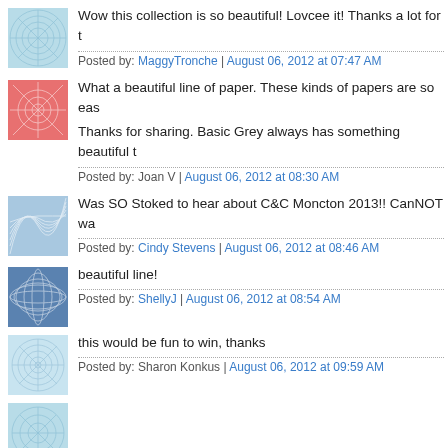Wow this collection is so beautiful! Lovcee it! Thanks a lot for t...
Posted by: MaggyTronche | August 06, 2012 at 07:47 AM
What a beautiful line of paper. These kinds of papers are so easy to work with...
Thanks for sharing. Basic Grey always has something beautiful t...
Posted by: Joan V | August 06, 2012 at 08:30 AM
Was SO Stoked to hear about C&C Moncton 2013!! CanNOT wa...
Posted by: Cindy Stevens | August 06, 2012 at 08:46 AM
beautiful line!
Posted by: ShellyJ | August 06, 2012 at 08:54 AM
this would be fun to win, thanks
Posted by: Sharon Konkus | August 06, 2012 at 09:59 AM